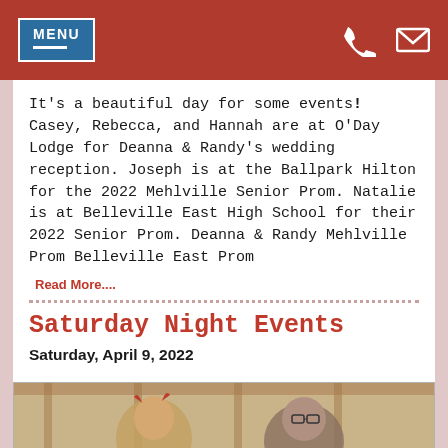MENU [phone icon] [mail icon]
It's a beautiful day for some events! Casey, Rebecca, and Hannah are at O'Day Lodge for Deanna & Randy's wedding reception. Joseph is at the Ballpark Hilton for the 2022 Mehlville Senior Prom. Natalie is at Belleville East High School for their 2022 Senior Prom. Deanna & Randy Mehlville Prom Belleville East Prom
Read More....
Saturday Night Events
Saturday, April 9, 2022
[Figure (photo): Two women posing indoors at an event venue, one wearing devil horns, with wooden ceiling beams visible in the background.]